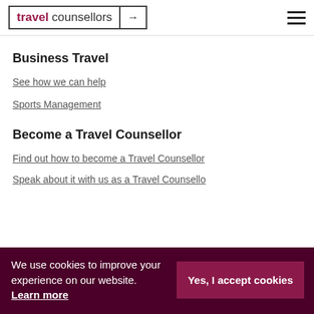travel counsellors
Business Travel
See how we can help
Sports Management
Become a Travel Counsellor
Find out how to become a Travel Counsellor
We use cookies to improve your experience on our website. Learn more
Yes, I accept cookies